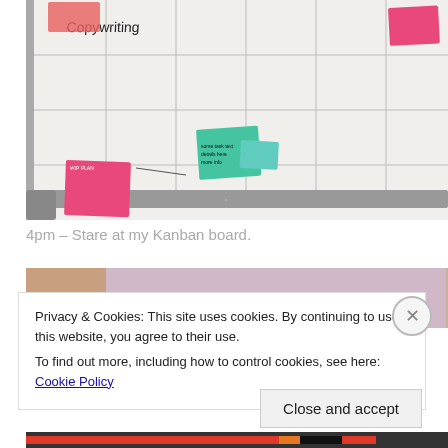[Figure (photo): A whiteboard used as a Kanban board with a grid drawn on it. Several sticky notes are attached: a teal/green sticky note in the center area, a pink sticky note on the lower left, and a pink sticky note in the upper right. The word 'Copywriting' is written in black marker on the upper left of the board.]
4pm – Stare at my Kanban board.
[Figure (photo): Partial view of another photo showing a brownish/warm-toned background, partially obscured by cookie consent banner.]
Privacy & Cookies: This site uses cookies. By continuing to use this website, you agree to their use.
To find out more, including how to control cookies, see here: Cookie Policy
Close and accept